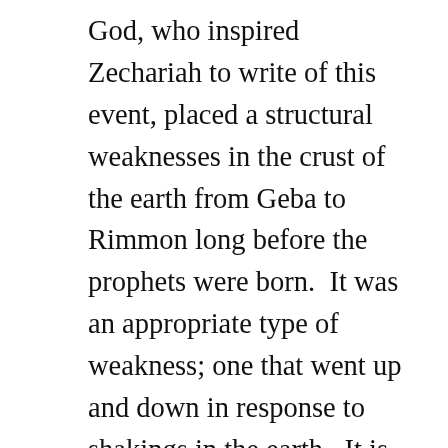God, who inspired Zechariah to write of this event, placed a structural weaknesses in the crust of the earth from Geba to Rimmon long before the prophets were born.  It was an appropriate type of weakness; one that went up and down in response to shakings in the earth.  It is only within the last century that men have begun to understand how this particular type of mechanism works in the earth’s crust.  Within the last 50 years, geologists uncovered a structural weakness, within the crust of the earth that passes through Jerusalem on its run from Geba to Rimmon.  It is a structural weakness, embedded within the Judean Folds, and has a long history of up warping.  This up warping zone is known as the Shekhem